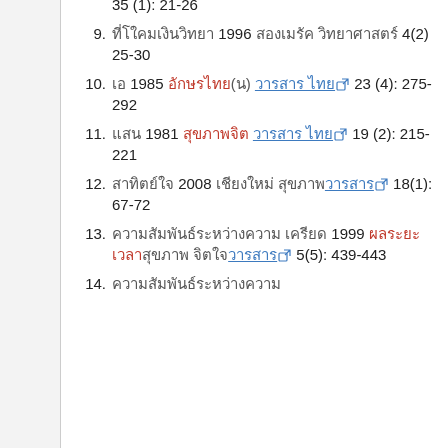(continuation) 35 (1): 21-26
9. [Thai text] 1996 [Thai text] [Thai text] 4(2) 25-30
10. [Thai] 1985 [Thai red](o) [Thai blue link] 23 (4): 275-292
11. [Thai] 1981 [Thai red] [Thai blue link] 19 (2): 215-221
12. [Thai] 2008 [Thai] [Thai blue] 18(1): 67-72
13. [Thai] 1999 [Thai red] [Thai] [Thai blue] 5(5): 439-443
14. [Thai text]